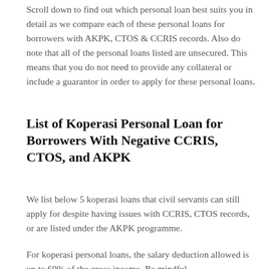Scroll down to find out which personal loan best suits you in detail as we compare each of these personal loans for borrowers with AKPK, CTOS & CCRIS records. Also do note that all of the personal loans listed are unsecured. This means that you do not need to provide any collateral or include a guarantor in order to apply for these personal loans.
List of Koperasi Personal Loan for Borrowers With Negative CCRIS, CTOS, and AKPK
We list below 5 koperasi loans that civil servants can still apply for despite having issues with CCRIS, CTOS records, or are listed under the AKPK programme.
For koperasi personal loans, the salary deduction allowed is up to 60% of the gross income. Be mindful